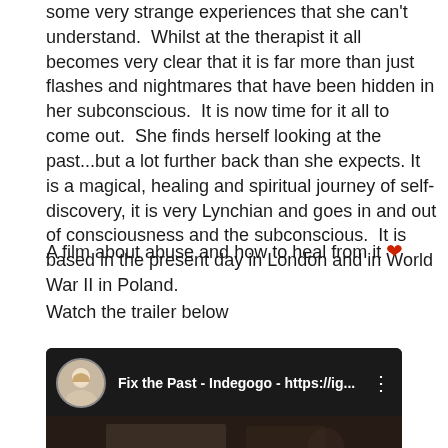some very strange experiences that she can't understand. Whilst at the therapist it all becomes very clear that it is far more than just flashes and nightmares that have been hidden in her subconscious. It is now time for it all to come out. She finds herself looking at the past...but a lot further back than she expects. It is a magical, healing and spiritual journey of self-discovery, it is very Lynchian and goes in and out of consciousness and the subconscious. It is based in the present day in London and in World War II in Poland.
A film about abuse and how to heal from it ❤
Watch the trailer below
[Figure (screenshot): YouTube video thumbnail showing title 'Fix the Past - Indegogo - https://ig...' with a circular avatar of a blonde woman on the left, three-dot menu on the right, and a dark video preview below.]